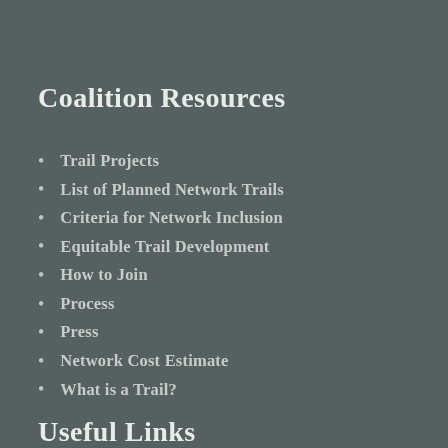Coalition Resources
Trail Projects
List of Planned Network Trails
Criteria for Network Inclusion
Equitable Trail Development
How to Join
Process
Press
Network Cost Estimate
What is a Trail?
Useful Links